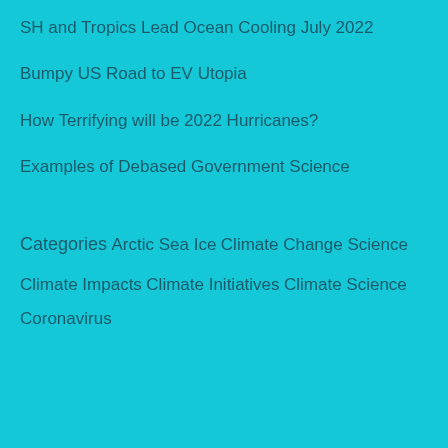SH and Tropics Lead Ocean Cooling July 2022
Bumpy US Road to EV Utopia
How Terrifying will be 2022 Hurricanes?
Examples of Debased Government Science
Categories
Arctic Sea Ice
Climate Change Science
Climate Impacts
Climate Initiatives
Climate Science
Coronavirus